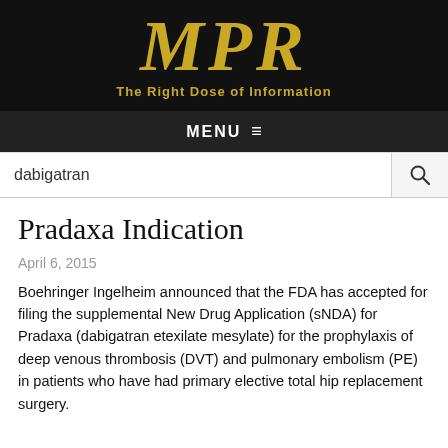MPR — The Right Dose of Information
Pradaxa Indication
April 6, 2015
Boehringer Ingelheim announced that the FDA has accepted for filing the supplemental New Drug Application (sNDA) for Pradaxa (dabigatran etexilate mesylate) for the prophylaxis of deep venous thrombosis (DVT) and pulmonary embolism (PE) in patients who have had primary elective total hip replacement surgery.